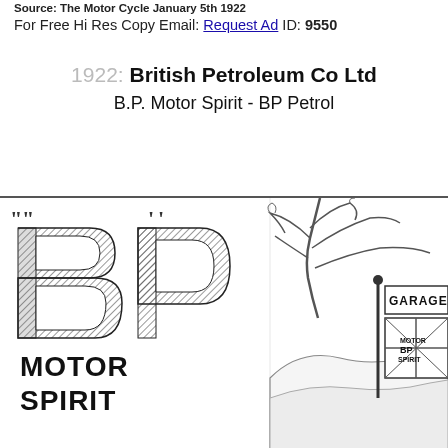Source: The Motor Cycle January 5th 1922
For Free Hi Res Copy Email: Request Ad ID: 9550
1922: British Petroleum Co Ltd
B.P. Motor Spirit - BP Petrol
[Figure (illustration): 1922 British Petroleum BP Motor Spirit advertisement. Left side shows large hatched BP logo letters with quote marks, and 'MOTOR SPIRIT' text below. Right side shows a countryside scene with a tree and a garage sign with BP Motor Spirit branding on a Union Jack flag panel.]